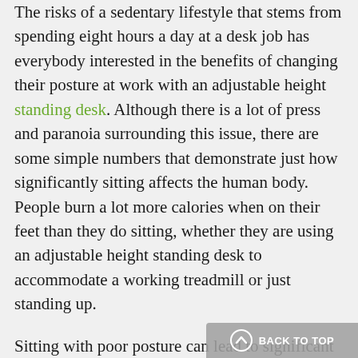The risks of a sedentary lifestyle that stems from spending eight hours a day at a desk job has everybody interested in the benefits of changing their posture at work with an adjustable height standing desk. Although there is a lot of press and paranoia surrounding this issue, there are some simple numbers that demonstrate just how significantly sitting affects the human body. People burn a lot more calories when on their feet than they do sitting, whether they are using an adjustable height standing desk to accommodate a working treadmill or just standing up.
Sitting with poor posture can lead to significant problems with back strength and flexibility, and sitting is generally bad for the body's range of motion, the amount of calories the body burns sitting, standing, and walking provides even stronger, more concrete evidence for why it's better not to sit so much.
BACK TO TOP